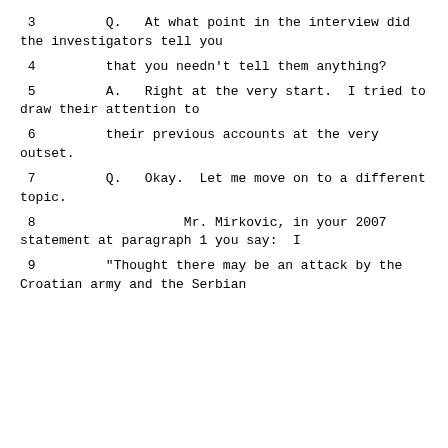3         Q.   At what point in the interview did the investigators tell you
4         that you needn't tell them anything?
5         A.   Right at the very start.  I tried to draw their attention to
6         their previous accounts at the very outset.
7         Q.   Okay.  Let me move on to a different topic.
8                   Mr. Mirkovic, in your 2007 statement at paragraph 1 you say:  I
9         "Thought there may be an attack by the Croatian army and the Serbian